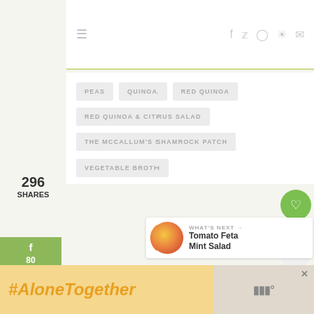Navigation bar with hamburger menu and social icons (f, Twitter, Instagram, Pinterest, mail)
PEAS
QUINOA
RED QUINOA
RED QUINOA & CITRUS SALAD
THE MCCALLUM'S SHAMROCK PATCH
VEGETABLE BROTH
296 SHARES
80
216
297
WHAT'S NEXT → Tomato Feta Mint Salad
#AloneTogether